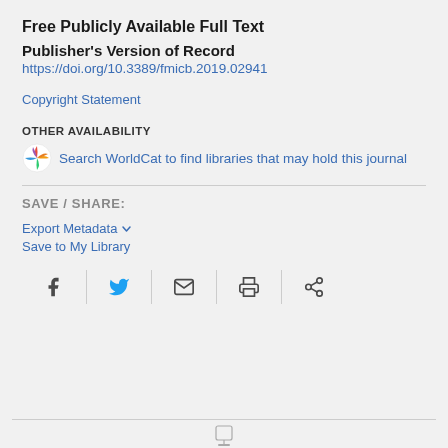Free Publicly Available Full Text
Publisher's Version of Record
https://doi.org/10.3389/fmicb.2019.02941
Copyright Statement
OTHER AVAILABILITY
Search WorldCat to find libraries that may hold this journal
SAVE / SHARE:
Export Metadata
Save to My Library
[Figure (infographic): Social sharing icon row: Facebook, Twitter, Email, Print, Share icons separated by vertical dividers]
[Figure (logo): Partial logo at bottom center of page]